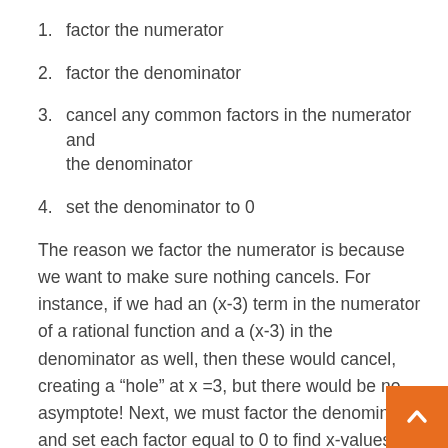1. factor the numerator
2. factor the denominator
3. cancel any common factors in the numerator and the denominator
4. set the denominator to 0
The reason we factor the numerator is because we want to make sure nothing cancels. For instance, if we had an (x-3) term in the numerator of a rational function and a (x-3) in the denominator as well, then these would cancel, creating a “hole” at x =3, but there would be no asymptote! Next, we must factor the denominator and set each factor equal to 0 to find x-values that will make the denominator 0. As x approaches any of these values, the denominator will